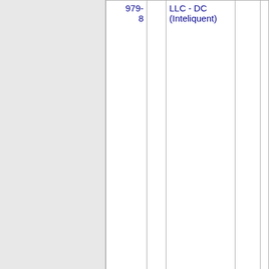| Number | State | Name | Address | Street |
| --- | --- | --- | --- | --- |
| 979-8 |  | LLC - DC (Inteliquent) |  |  |
| 202-979-9 | DC | ONVOY, LLC - DC (Inteliquent) | 850D | WSHNGTN |